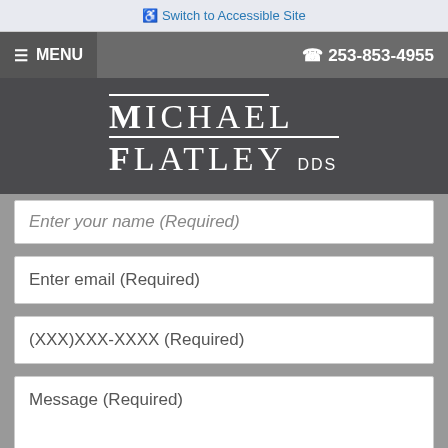Switch to Accessible Site
☰ MENU   ☎ 253-853-4955
Michael Flatley DDS
Enter your name (Required)
Enter email (Required)
(XXX)XXX-XXXX (Required)
Message (Required)